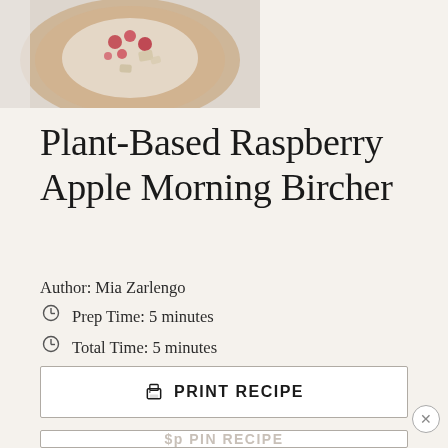[Figure (photo): Top-down photo of a bowl with bircher muesli topped with raspberries and apple pieces on a wooden board, partially cropped at top of page]
Plant-Based Raspberry Apple Morning Bircher
Author: Mia Zarlengo
Prep Time: 5 minutes
Total Time: 5 minutes
Yield: 2–3 servings 1x
Category: Breakfast, Snacks
PRINT RECIPE
PIN RECIPE